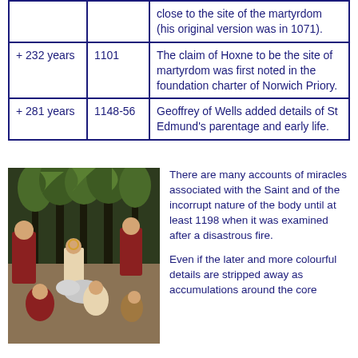|  |  |  |
| --- | --- | --- |
|  |  | close to the site of the martyrdom (his original version was in 1071). |
| + 232 years | 1101 | The claim of Hoxne to be the site of martyrdom was first noted in the foundation charter of Norwich Priory. |
| + 281 years | 1148-56 | Geoffrey of Wells added details of St Edmund's parentage and early life. |
[Figure (illustration): Medieval illuminated manuscript scene showing figures in a wooded setting with trees, people in robes interacting with animals]
There are many accounts of miracles associated with the Saint and of the incorrupt nature of the body until at least 1198 when it was examined after a disastrous fire.
Even if the later and more colourful details are stripped away as accumulations around the core